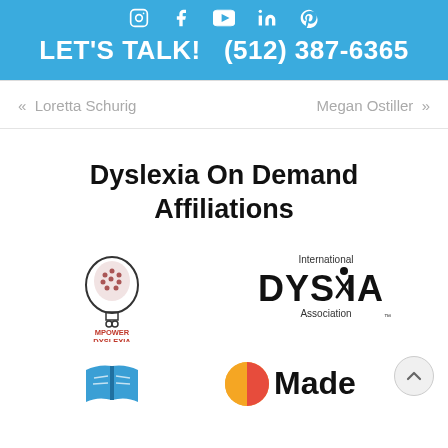LET'S TALK!  (512) 387-6365
« Loretta Schurig    Megan Ostiller »
Dyslexia On Demand Affiliations
[Figure (logo): Mpower Dyslexia logo — outline of a human head with brain graphic and 'MPOWER DYSLEXIA' text below]
[Figure (logo): International Dyslexia Association logo — 'International' in small text above large 'DYSLEXIA' with a figure in the X, and 'Association' below]
[Figure (logo): Open book icon in blue]
[Figure (logo): Partially visible logo beginning with 'Made' — colorful circular icon]